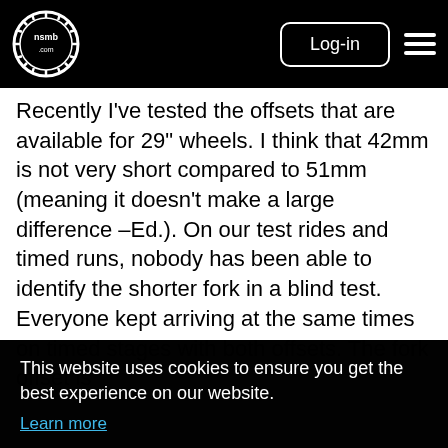nsmb.com - Log-in navigation
Recently I've tested the offsets that are available for 29" wheels. I think that 42mm is not very short compared to 51mm (meaning it doesn't make a large difference –Ed.). On our test rides and timed runs, nobody has been able to identify the shorter fork in a blind test. Everyone kept arriving at the same times on timed stages with both offsets. The fork offset is
This website uses cookies to ensure you get the best experience on our website.
Learn more
Got it!